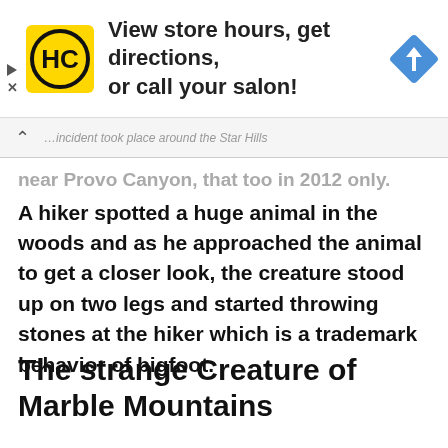[Figure (infographic): Advertisement banner for Hair Club (HC) showing yellow logo with HC letters, text 'View store hours, get directions, or call your salon!' and a blue navigation/directions diamond icon on the right.]
...incident took place around the Star Hills near Provo Canyon, that too in 2012 only.
A hiker spotted a huge animal in the woods and as he approached the animal to get a closer look, the creature stood up on two legs and started throwing stones at the hiker which is a trademark behavior of bigfoot.
The strange Creature of Marble Mountains